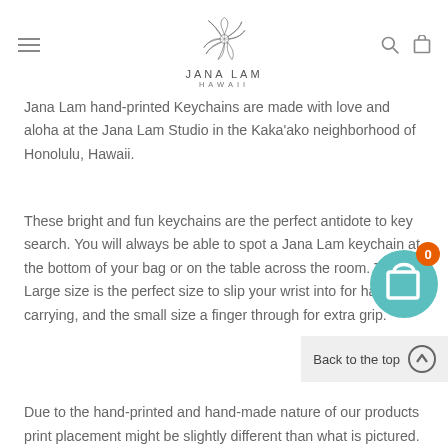JANA LAM HAWAII
Jana Lam hand-printed Keychains are made with love and aloha at the Jana Lam Studio in the Kaka'ako neighborhood of Honolulu, Hawaii.
These bright and fun keychains are the perfect antidote to key search. You will always be able to spot a Jana Lam keychain at the bottom of your bag or on the table across the room. The Large size is the perfect size to slip your wrist into for hand free carrying, and the small size a finger through for extra grip.
[Figure (illustration): Teal shopping cart icon with orange badge showing '0']
[Figure (illustration): Back to the top button with circular up arrow icon]
Due to the hand-printed and hand-made nature of our products print placement might be slightly different than what is pictured.